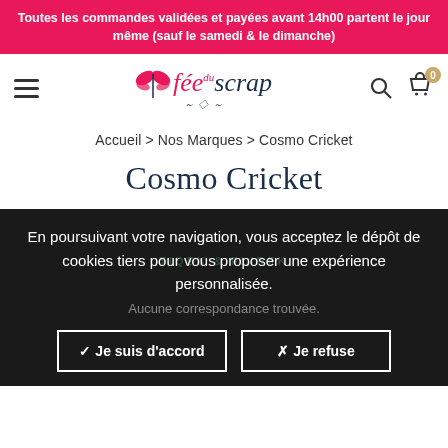Toutes les commandes validées et payées avant 14h00 partent le jour même (sauf le samedi & le dimanche)
[Figure (logo): Fée du Scrap logo with fairy wings and stylized text]
Accueil > Nos Marques > Cosmo Cricket
Cosmo Cricket
En poursuivant votre navigation, vous acceptez le dépôt de cookies tiers pour vous proposer une expérience personnalisée.
Aucune correspondance trouvée.
✓ Je suis d'accord     ✗ Je refuse